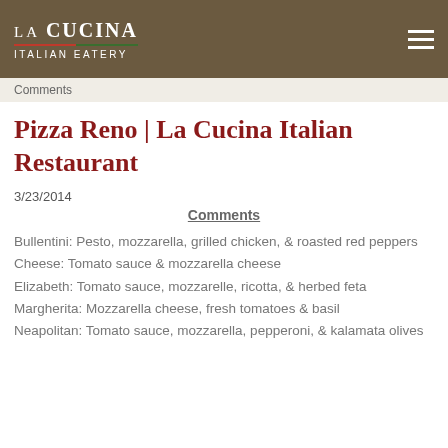LA CUCINA ITALIAN EATERY
Comments
Pizza Reno | La Cucina Italian Restaurant
3/23/2014
Comments
Bullentini: Pesto, mozzarella, grilled chicken, & roasted red peppers
Cheese: Tomato sauce & mozzarella cheese
Elizabeth: Tomato sauce, mozzarelle, ricotta, & herbed feta
Margherita: Mozzarella cheese, fresh tomatoes & basil
Neapolitan: Tomato sauce, mozzarella, pepperoni, & kalamata olives